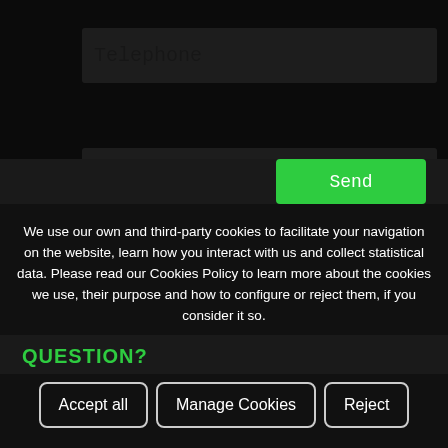Telephone
Description (*)
When you press the button "SEND" you confirm you've read, understood and accepted the conditions of our Privacy Policy shown in this LINK
Send
We use our own and third-party cookies to facilitate your navigation on the website, learn how you interact with us and collect statistical data. Please read our Cookies Policy to learn more about the cookies we use, their purpose and how to configure or reject them, if you consider it so.
QUESTION?
Accept all
Manage Cookies
Reject